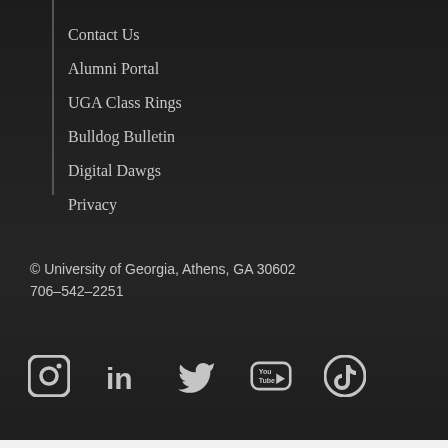Contact Us
Alumni Portal
UGA Class Rings
Bulldog Bulletin
Digital Dawgs
Privacy
© University of Georgia, Athens, GA 30602
706-542-2251
[Figure (infographic): Social media icons row: Instagram, LinkedIn, Twitter, YouTube, TikTok]